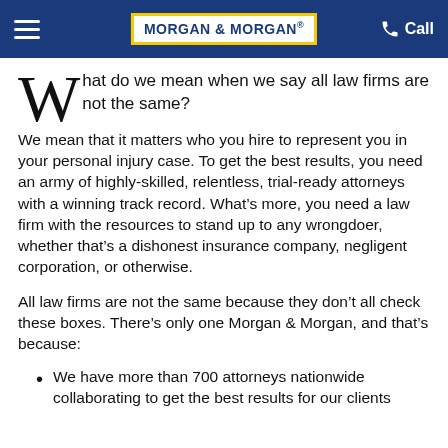Morgan & Morgan — Call
What do we mean when we say all law firms are not the same?
We mean that it matters who you hire to represent you in your personal injury case. To get the best results, you need an army of highly-skilled, relentless, trial-ready attorneys with a winning track record. What’s more, you need a law firm with the resources to stand up to any wrongdoer, whether that’s a dishonest insurance company, negligent corporation, or otherwise.
All law firms are not the same because they don’t all check these boxes. There’s only one Morgan & Morgan, and that’s because:
We have more than 700 attorneys nationwide collaborating to get the best results for our clients